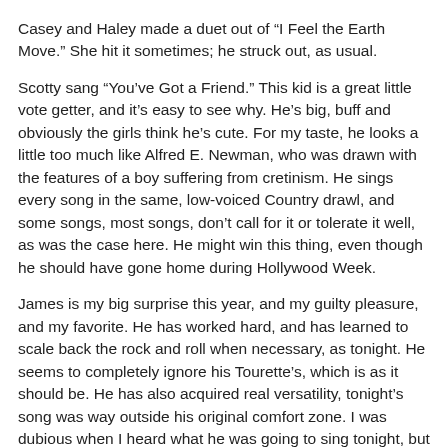Casey and Haley made a duet out of “I Feel the Earth Move.” She hit it sometimes; he struck out, as usual.
Scotty sang “You’ve Got a Friend.” This kid is a great little vote getter, and it’s easy to see why. He’s big, buff and obviously the girls think he’s cute. For my taste, he looks a little too much like Alfred E. Newman, who was drawn with the features of a boy suffering from cretinism. He sings every song in the same, low-voiced Country drawl, and some songs, most songs, don’t call for it or tolerate it well, as was the case here. He might win this thing, even though he should have gone home during Hollywood Week.
James is my big surprise this year, and my guilty pleasure, and my favorite. He has worked hard, and has learned to scale back the rock and roll when necessary, as tonight. He seems to completely ignore his Tourette’s, which is as it should be. He has also acquired real versatility, tonight’s song was way outside his original comfort zone. I was dubious when I heard what he was going to sing tonight, but he really nailed it. In fact, he totally crushed it. I hope he wins